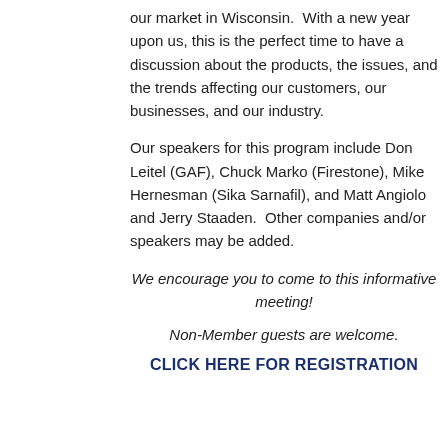our market in Wisconsin.  With a new year upon us, this is the perfect time to have a discussion about the products, the issues, and the trends affecting our customers, our businesses, and our industry.
Our speakers for this program include Don Leitel (GAF), Chuck Marko (Firestone), Mike Hernesman (Sika Sarnafil), and Matt Angiolo and Jerry Staaden.  Other companies and/or speakers may be added.
We encourage you to come to this informative meeting!
Non-Member guests are welcome.
CLICK HERE FOR REGISTRATION